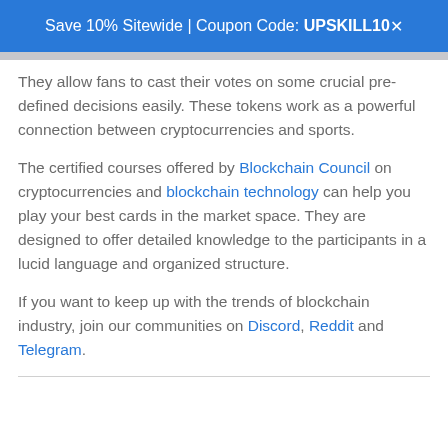Save 10% Sitewide | Coupon Code: UPSKILL10
They allow fans to cast their votes on some crucial pre-defined decisions easily. These tokens work as a powerful connection between cryptocurrencies and sports.
The certified courses offered by Blockchain Council on cryptocurrencies and blockchain technology can help you play your best cards in the market space. They are designed to offer detailed knowledge to the participants in a lucid language and organized structure.
If you want to keep up with the trends of blockchain industry, join our communities on Discord, Reddit and Telegram.